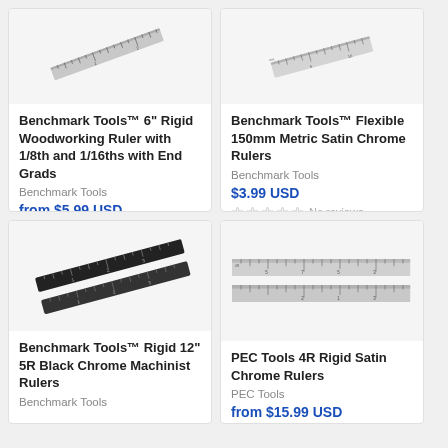[Figure (photo): Benchmark Tools rigid woodworking ruler, angled view on white background]
Benchmark Tools™ 6" Rigid Woodworking Ruler with 1/8th and 1/16ths with End Grads
Benchmark Tools
from $5.99 USD
No reviews
[Figure (photo): Benchmark Tools flexible 150mm metric satin chrome ruler on white background]
Benchmark Tools™ Flexible 150mm Metric Satin Chrome Rulers
Benchmark Tools
$3.99 USD
No reviews
[Figure (photo): Two Benchmark Tools rigid 12 inch 5R black chrome machinist rulers on white background]
Benchmark Tools™ Rigid 12" 5R Black Chrome Machinist Rulers
Benchmark Tools
[Figure (photo): Two PEC Tools 4R rigid satin chrome rulers stacked on white background]
PEC Tools 4R Rigid Satin Chrome Rulers
PEC Tools
from $15.99 USD